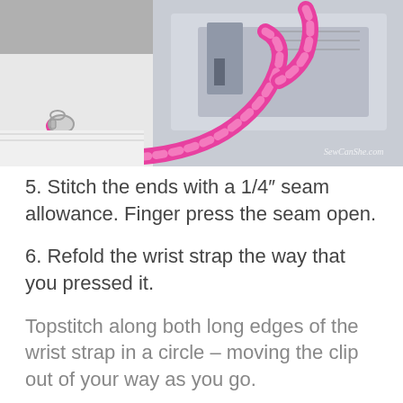[Figure (photo): A pink and white checkered wrist strap lanyard looped through a sewing machine, with a metal clip visible. The sewing machine is silver/grey. A watermark reads 'SewCanShe.com' in the lower right corner.]
5. Stitch the ends with a 1/4" seam allowance. Finger press the seam open.
6. Refold the wrist strap the way that you pressed it.
Topstitch along both long edges of the wrist strap in a circle – moving the clip out of your way as you go.